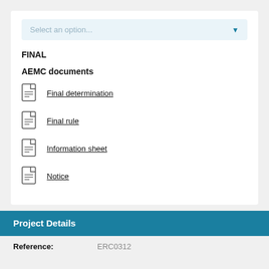Select an option...
FINAL
AEMC documents
Final determination
Final rule
Information sheet
Notice
Project Details
Reference: ERC0312